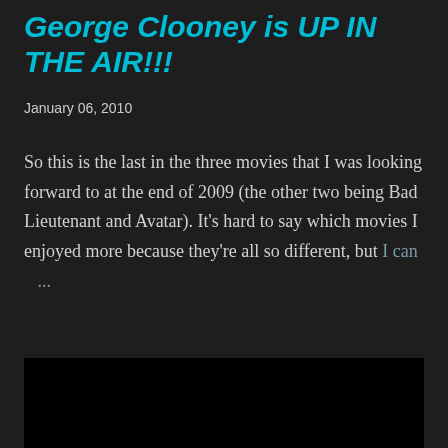George Clooney is UP IN THE AIR!!!
January 06, 2010
So this is the last in the three movies that I was looking forward to at the end of 2009 (the other two being Bad Lieutenant and Avatar). It's hard to say which movies I enjoyed more because they're all so different, but I can ...
SHARE   7 COMMENTS   READ MORE
[Figure (photo): Black rectangle image placeholder at bottom of page]